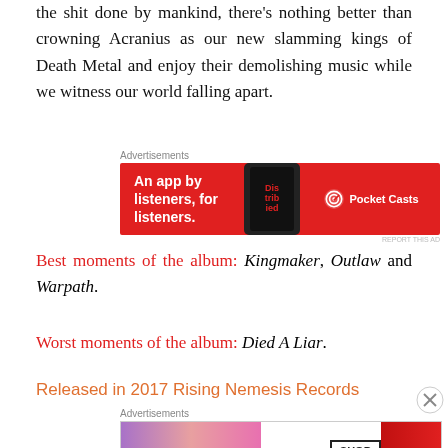the shit done by mankind, there's nothing better than crowning Acranius as our new slamming kings of Death Metal and enjoy their demolishing music while we witness our world falling apart.
[Figure (other): Pocket Casts advertisement banner: red background with text 'An app by listeners, for listeners.' and Pocket Casts logo]
Best moments of the album: Kingmaker, Outlaw and Warpath.
Worst moments of the album: Died A Liar.
Released in 2017 Rising Nemesis Records
[Figure (other): MAC cosmetics advertisement banner with lipstick products and SHOP NOW button]